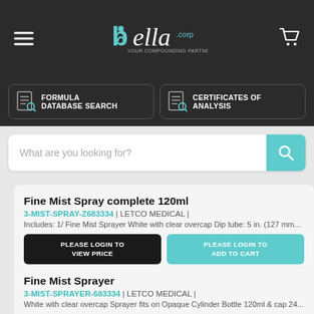[Figure (logo): Bella Corp logo - your compounding partner, white teal text on dark background]
[Figure (infographic): Formula Database Search and Certificates of Analysis navigation buttons]
What are you looking for?
Fine Mist Spray complete 120ml
3-MIST-SPRAY-Z683334 | LETCO MEDICAL |
Includes: 1/ Fine Mist Sprayer White with clear overcap Dip tube: 5 in. (127 mm...
PLEASE LOGIN TO VIEW PRICE
PLEASE LOGIN TO ADD TO CART
Fine Mist Sprayer
3-MIST-SPRAYER-683334 | LETCO MEDICAL |
White with clear overcap Sprayer fits on Opaque Cylinder Bottle 120ml & cap 24...
PLEASE LOGIN TO VIEW PRICE
PLEASE LOGIN TO ADD TO CART